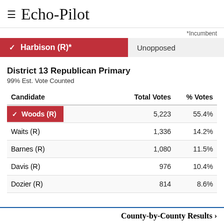≡ Echo-Pilot
*Incumbent
|  |  |
| --- | --- |
| ✔ Harbison (R)* | Unopposed |
District 13 Republican Primary
99% Est. Vote Counted
| Candidate | Total Votes | % Votes |
| --- | --- | --- |
| ✔ Woods (R) | 5,223 | 55.4% |
| Waits (R) | 1,336 | 14.2% |
| Barnes (R) | 1,080 | 11.5% |
| Davis (R) | 976 | 10.4% |
| Dozier (R) | 814 | 8.6% |
County-by-County Results ›